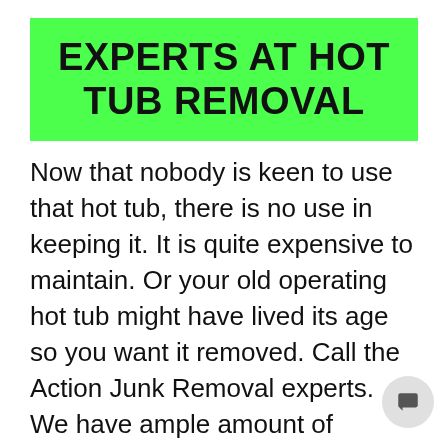EXPERTS AT HOT TUB REMOVAL
Now that nobody is keen to use that hot tub, there is no use in keeping it. It is quite expensive to maintain. Or your old operating hot tub might have lived its age so you want it removed. Call the Action Junk Removal experts. We have ample amount of experience in breaking apart a Jacuzzi for easier hauling and disposal. We pay special attention to the chemicals used in a hot